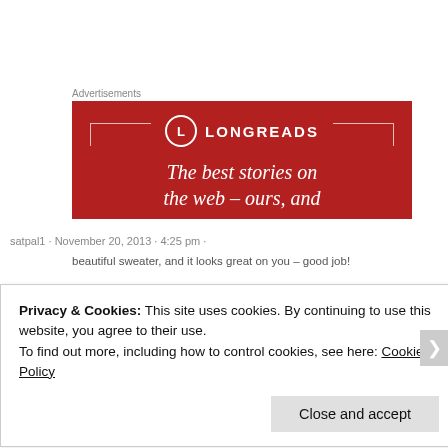Advertisements
[Figure (illustration): Longreads advertisement banner with red background, circle logo with L, decorative corner lines, and text 'The best stories on the web – ours, and']
satpal1 · November 20, 2013 · 4:25 pm ·
beautiful sweater, and it looks great on you – good job!
Privacy & Cookies: This site uses cookies. By continuing to use this website, you agree to their use.
To find out more, including how to control cookies, see here: Cookie Policy
Close and accept